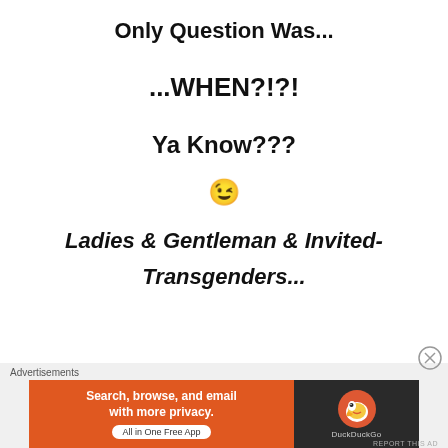Only Question Was...
...WHEN?!?!
Ya Know???
😉
Ladies & Gentleman & Invited-
Transgenders...
Advertisements
[Figure (screenshot): DuckDuckGo advertisement banner: orange section with text 'Search, browse, and email with more privacy. All in One Free App' and dark section with DuckDuckGo duck logo and brand name.]